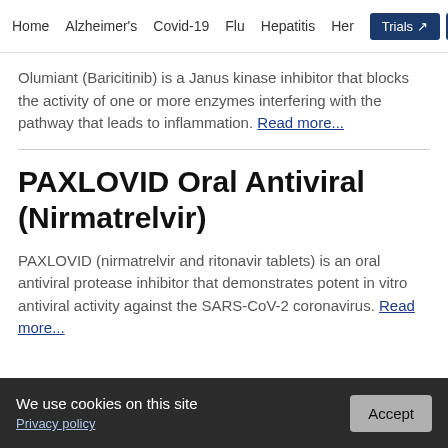Home  Alzheimer's  Covid-19  Flu  Hepatitis  Her…  Trials  Labs
Olumiant (Baricitinib) is a Janus kinase inhibitor that blocks the activity of one or more enzymes interfering with the pathway that leads to inflammation. Read more...
PAXLOVID Oral Antiviral (Nirmatrelvir)
PAXLOVID (nirmatrelvir and ritonavir tablets) is an oral antiviral protease inhibitor that demonstrates potent in vitro antiviral activity against the SARS-CoV-2 coronavirus. Read more...
We use cookies on this site  Privacy policy  Accept